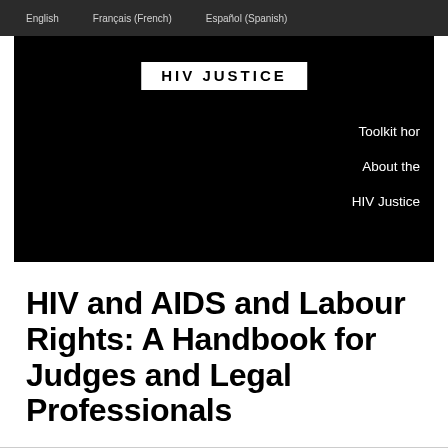English   Français (French)   Español (Spanish)
[Figure (screenshot): Black hero banner with HIV JUSTICE logo in white box at top center, and navigation links 'Toolkit hor', 'About the', 'HIV Justice' on the right side in white text]
HIV and AIDS and Labour Rights: A Handbook for Judges and Legal Professionals